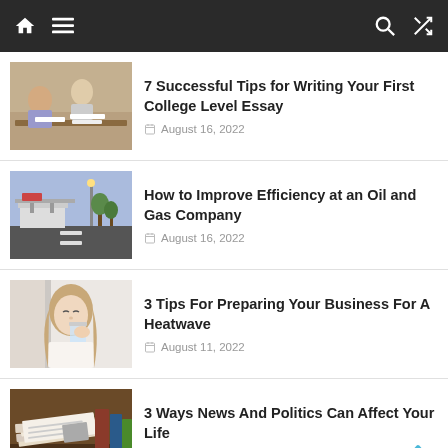Navigation bar with home, menu, search, and shuffle icons
7 Successful Tips for Writing Your First College Level Essay — August 16, 2022
How to Improve Efficiency at an Oil and Gas Company — August 16, 2022
3 Tips For Preparing Your Business For A Heatwave — August 11, 2022
3 Ways News And Politics Can Affect Your Life — August 9, 2022